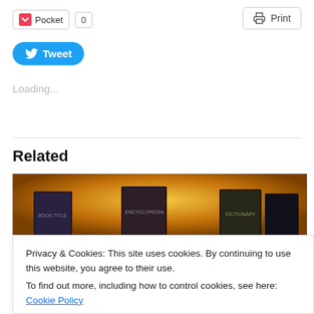[Figure (screenshot): Pocket social share button with count of 0]
[Figure (screenshot): Print button]
[Figure (screenshot): Tweet button (Twitter/X share)]
Loading...
Related
[Figure (photo): Related article image showing books with dark spines on a warm amber/gold background]
Privacy & Cookies: This site uses cookies. By continuing to use this website, you agree to their use.
To find out more, including how to control cookies, see here: Cookie Policy
[Figure (screenshot): Close and accept button for cookie notice]